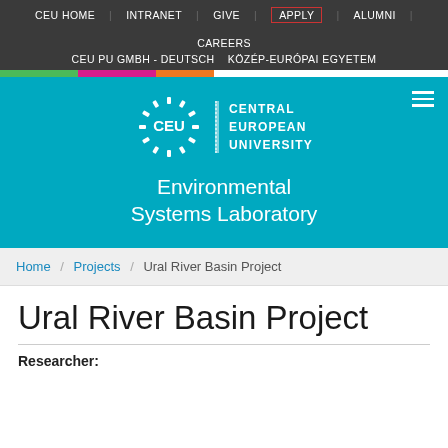CEU HOME   INTRANET   GIVE   APPLY   ALUMNI   CAREERS   CEU PU GMBH - DEUTSCH   KÖZÉP-EURÓPAI EGYETEM
[Figure (logo): CEU Central European University logo in white on teal background, with Environmental Systems Laboratory text below]
Home / Projects / Ural River Basin Project
Ural River Basin Project
Researcher: